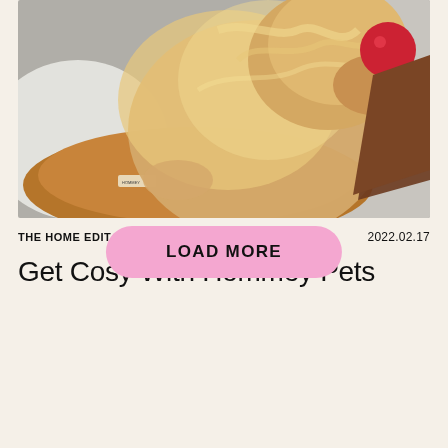[Figure (photo): A fluffy golden/cream colored dog lying on a caramel-colored velvet cushion with a small white label, holding a red ball/toy in its mouth, on a gray surface with white fluffy blanket]
THE HOME EDIT
2022.02.17
Get Cosy With Hommey Pets
LOAD MORE